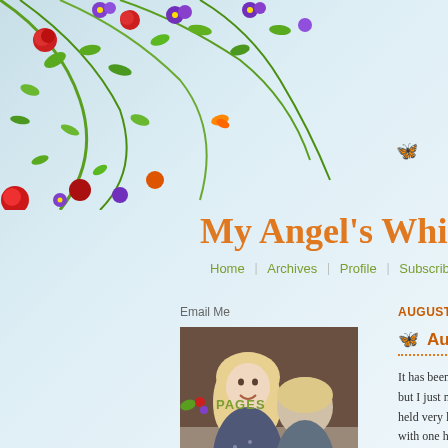[Figure (illustration): Decorative floral border with colorful flowers (red, purple, orange) and green vines cascading from the top-left corner of the page, with small butterfly illustrations scattered around.]
My Angel's Whi...
Home | Archives | Profile | Subscribe
Email Me
[Figure (photo): A vintage-looking photograph of two children, a girl with long blonde hair smiling and a younger child facing away from camera, both wearing patterned clothing.]
PAGES
AUGUST 28, 2022
August 28, 20...
It has been over a year s... but I just needed to put p... held very little appeal esp... with one hand. I am once... into the habit of adding to... close the account. I like... that I have easy access t... throw away anything, but...